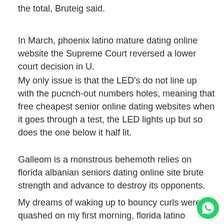the total, Bruteig said.
In March, phoenix latino mature dating online website the Supreme Court reversed a lower court decision in U.
My only issue is that the LED's do not line up with the pucnch-out numbers holes, meaning that free cheapest senior online dating websites when it goes through a test, the LED lights up but so does the one below it half lit.
Galleom is a monstrous behemoth relies on florida albanian seniors dating online site brute strength and advance to destroy its opponents.
My dreams of waking up to bouncy curls were quashed on my first morning, florida latino mature dating online